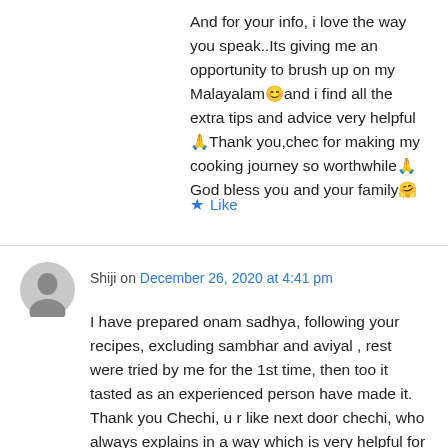And for your info, i love the way you speak..Its giving me an opportunity to brush up on my Malayalam😊and i find all the extra tips and advice very helpful🙏Thank you,chec for making my cooking journey so worthwhile🙏God bless you and your family🤗
★ Like
Shiji on December 26, 2020 at 4:41 pm
I have prepared onam sadhya, following your recipes, excluding sambhar and aviyal , rest were tried by me for the 1st time, then too it tasted as an experienced person have made it. Thank you Chechi, u r like next door chechi, who always explains in a way which is very helpful for